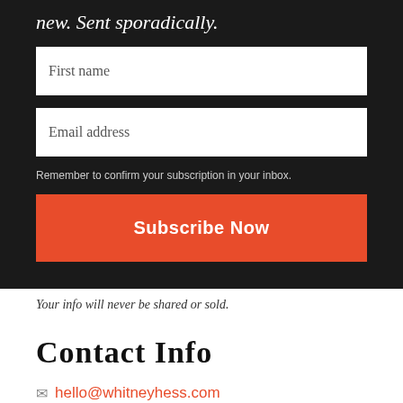new. Sent sporadically.
First name
Email address
Remember to confirm your subscription in your inbox.
Subscribe Now
Your info will never be shared or sold.
Contact Info
hello@whitneyhess.com
207.358.0355